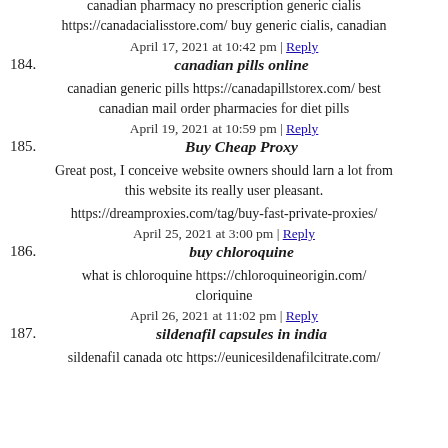canadian pharmacy no prescription generic cialis https://canadacialisstore.com/ buy generic cialis, canadian
April 17, 2021 at 10:42 pm | Reply
184. canadian pills online
canadian generic pills https://canadapillstorex.com/ best canadian mail order pharmacies for diet pills
April 19, 2021 at 10:59 pm | Reply
185. Buy Cheap Proxy
Great post, I conceive website owners should larn a lot from this website its really user pleasant.
https://dreamproxies.com/tag/buy-fast-private-proxies/
April 25, 2021 at 3:00 pm | Reply
186. buy chloroquine
what is chloroquine https://chloroquineorigin.com/ cloriquine
April 26, 2021 at 11:02 pm | Reply
187. sildenafil capsules in india
sildenafil canada otc https://eunicesildenafilcitrate.com/